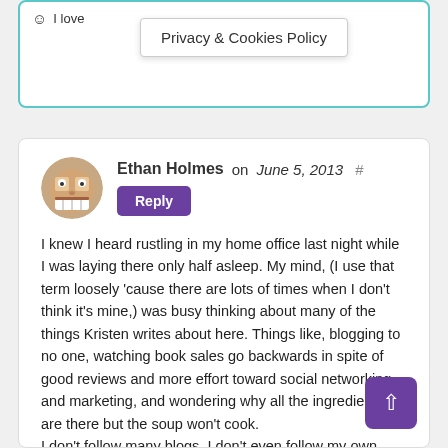I love
Privacy & Cookies Policy
Ethan Holmes on June 5, 2013 # Reply
I knew I heard rustling in my home office last night while I was laying there only half asleep. My mind, (I use that term loosely 'cause there are lots of times when I don't think it's mine,) was busy thinking about many of the things Kristen writes about here. Things like, blogging to no one, watching book sales go backwards in spite of good reviews and more effort toward social networking and marketing, and wondering why all the ingredients are there but the soup won't cook.
I don't follow many blogs. I don't even follow my own. (Are you supposed to? J/K) Kristen is gold on the days when I seem to be digging up cow manure. After reading this blog I realize I'm not alone despite the fact that nobody is here, (at my house my life). So I will continue to 'talk to myself', write blogs that no one, sell books that set records for low sales of the month, a fire that I cannot extinguish. It burns to get out of me and if